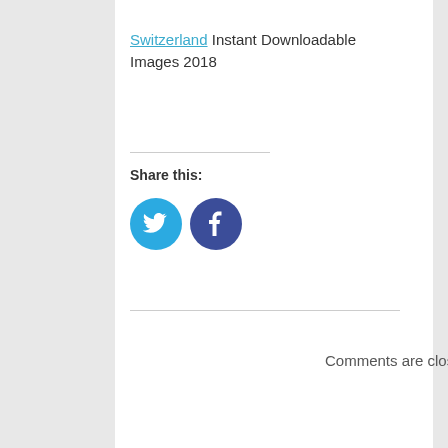Switzerland Instant Downloadable Images 2018
Share this:
[Figure (infographic): Twitter and Facebook share icon buttons as circular icons]
Comments are closed.